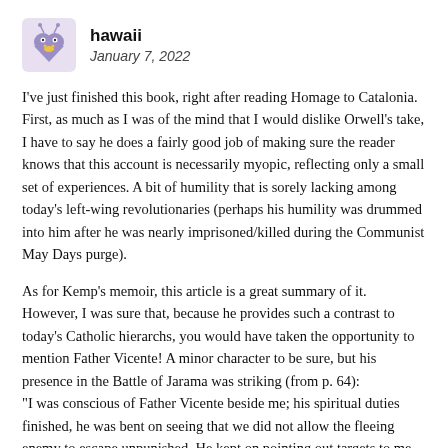[Figure (illustration): Small cartoon avatar icon — a purple/blue heart-shaped creature with antennae and yellow highlights on a light lavender square background]
hawaii
January 7, 2022
I've just finished this book, right after reading Homage to Catalonia. First, as much as I was of the mind that I would dislike Orwell's take, I have to say he does a fairly good job of making sure the reader knows that this account is necessarily myopic, reflecting only a small set of experiences. A bit of humility that is sorely lacking among today's left-wing revolutionaries (perhaps his humility was drummed into him after he was nearly imprisoned/killed during the Communist May Days purge).
As for Kemp's memoir, this article is a great summary of it. However, I was sure that, because he provides such a contrast to today's Catholic hierarchs, you would have taken the opportunity to mention Father Vicente! A minor character to be sure, but his presence in the Battle of Jarama was striking (from p. 64):
"I was conscious of Father Vicente beside me; his spiritual duties finished, he was bent on seeing that we did not allow the fleeing enemy to escape unpunished. He kept on pointing out targets to me, urging me shrilly to shoot them down, and effectively putting